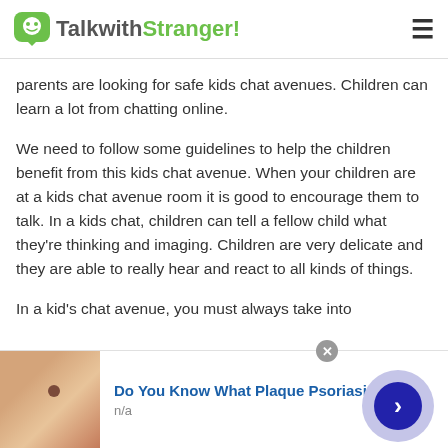TalkwithStranger!
parents are looking for safe kids chat avenues. Children can learn a lot from chatting online.
We need to follow some guidelines to help the children benefit from this kids chat avenue. When your children are at a kids chat avenue room it is good to encourage them to talk. In a kids chat, children can tell a fellow child what they're thinking and imaging. Children are very delicate and they are able to really hear and react to all kinds of things.
In a kid's chat avenue, you must always take into
[Figure (screenshot): Advertisement banner: Do You Know What Plaque Psoriasis Is? with image of hand and navigation arrow]